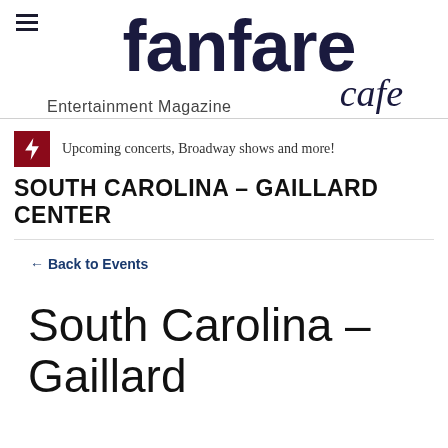[Figure (logo): Fanfare Cafe Entertainment Magazine logo with hamburger menu icon]
Upcoming concerts, Broadway shows and more!
SOUTH CAROLINA – GAILLARD CENTER
← Back to Events
South Carolina – Gaillard